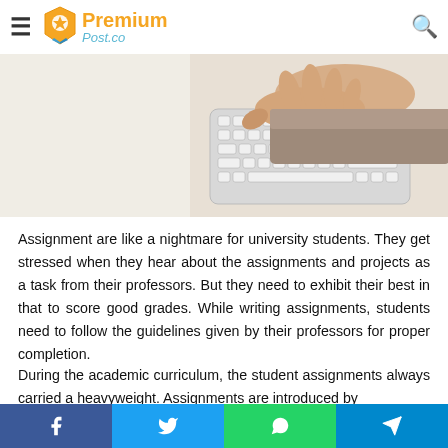PremiumPost.co
[Figure (photo): Person typing on a white keyboard, viewed from above. Left half is a plain light background, right half shows hands on keyboard.]
Assignment are like a nightmare for university students. They get stressed when they hear about the assignments and projects as a task from their professors. But they need to exhibit their best in that to score good grades. While writing assignments, students need to follow the guidelines given by their professors for proper completion.
During the academic curriculum, the student assignments always carried a heavyweight. Assignments are introduced by
Facebook  Twitter  WhatsApp  Telegram